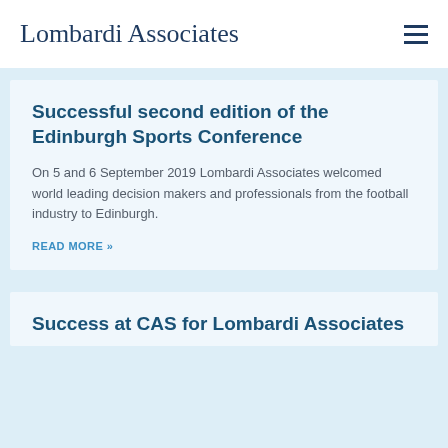Lombardi Associates
Successful second edition of the Edinburgh Sports Conference
On 5 and 6 September 2019 Lombardi Associates welcomed world leading decision makers and professionals from the football industry to Edinburgh.
READ MORE »
Success at CAS for Lombardi Associates